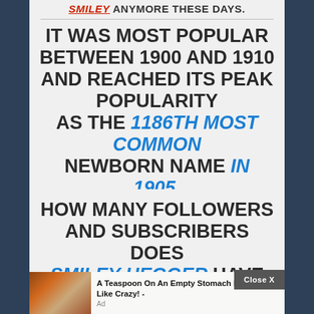SMILEY ANYMORE THESE DAYS.
IT WAS MOST POPULAR BETWEEN 1900 AND 1910 AND REACHED ITS PEAK POPULARITY AS THE 1186TH MOST COMMON NEWBORN NAME IN 1905.
HOW MANY FOLLOWERS AND SUBSCRIBERS DOES SMILEY HEGGER HAVE
A Teaspoon On An Empty Stomach Burns Fat Like Crazy! - Ad